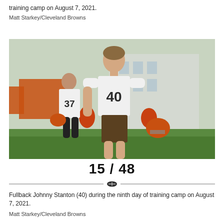training camp on August 7, 2021.
Matt Starkey/Cleveland Browns
[Figure (photo): Fullback Johnny Stanton (#40) walking on a green field during Cleveland Browns training camp, holding an orange helmet. Player #37 is visible in the background. Players wear white jerseys. Browns branding visible in background.]
15 / 48
Fullback Johnny Stanton (40) during the ninth day of training camp on August 7, 2021.
Matt Starkey/Cleveland Browns